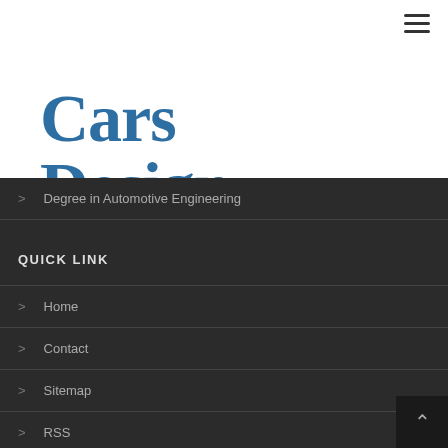Cars Design
Degree in Automotive Engineering
QUICK LINK
Home
Contact
Sitemap
RSS